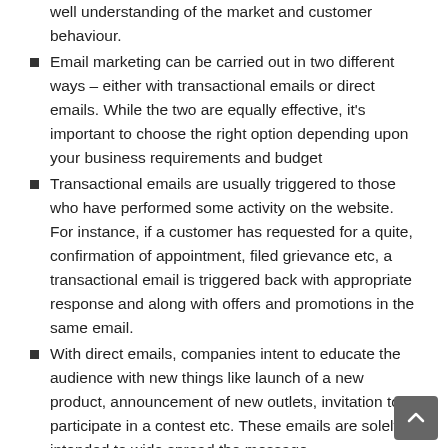well understanding of the market and customer behaviour.
Email marketing can be carried out in two different ways – either with transactional emails or direct emails. While the two are equally effective, it's important to choose the right option depending upon your business requirements and budget
Transactional emails are usually triggered to those who have performed some activity on the website. For instance, if a customer has requested for a quite, confirmation of appointment, filed grievance etc, a transactional email is triggered back with appropriate response and along with offers and promotions in the same email.
With direct emails, companies intent to educate the audience with new things like launch of a new product, announcement of new outlets, invitation to participate in a contest etc. These emails are solely intended to wide spread the message.